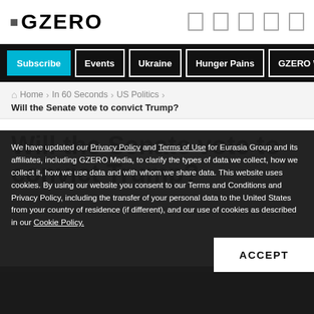GZERO
Subscribe | Events | Ukraine | Hunger Pains | GZERO World
Home › In 60 Seconds › US Politics › Will the Senate vote to convict Trump?
Will the Senate vote to convict Trump?
We have updated our Privacy Policy and Terms of Use for Eurasia Group and its affiliates, including GZERO Media, to clarify the types of data we collect, how we collect it, how we use data and with whom we share data. This website uses cookies. By using our website you consent to our Terms and Conditions and Privacy Policy, including the transfer of your personal data to the United States from your country of residence (if different), and our use of cookies as described in our Cookie Policy.
ACCEPT